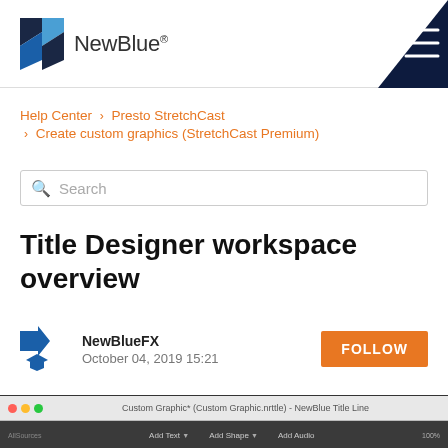NewBlue®
Help Center › Presto StretchCast › Create custom graphics (StretchCast Premium)
Search
Title Designer workspace overview
NewBlueFX
October 04, 2019 15:21
[Figure (screenshot): NewBlue Title Designer application window screenshot showing toolbar with Add Text, Add Shape, Add Audio options]